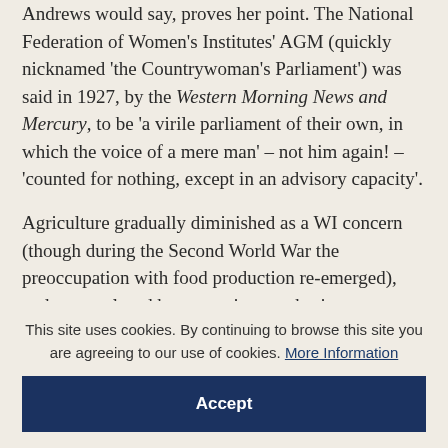Andrews would say, proves her point. The National Federation of Women's Institutes' AGM (quickly nicknamed 'the Countrywoman's Parliament') was said in 1927, by the Western Morning News and Mercury, to be 'a virile parliament of their own, in which the voice of a mere man' – not him again! – 'counted for nothing, except in an advisory capacity'.
Agriculture gradually diminished as a WI concern (though during the Second World War the preoccupation with food production re-emerged), and was replaced by a growing emphasis on
This site uses cookies. By continuing to browse this site you are agreeing to our use of cookies. More Information
Accept